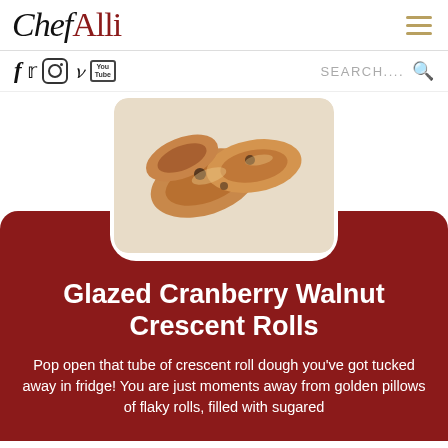ChefAlli
[Figure (logo): ChefAlli website logo with italic serif black 'Chef' and bold red 'Alli' text]
[Figure (infographic): Social media icons: Facebook, Twitter, Instagram, Pinterest, YouTube, followed by a search bar]
[Figure (photo): Photo of glazed cranberry walnut crescent rolls on parchment paper]
Glazed Cranberry Walnut Crescent Rolls
Pop open that tube of crescent roll dough you've got tucked away in fridge! You are just moments away from golden pillows of flaky rolls, filled with sugared